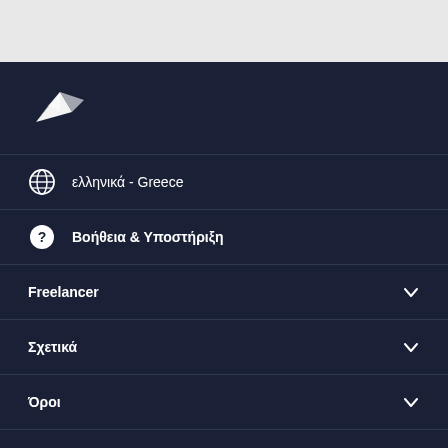[Figure (logo): Freelancer bird/origami logo in white]
ελληνικά - Greece
Βοήθεια & Υποστήριξη
Freelancer
Σχετικά
Όροι